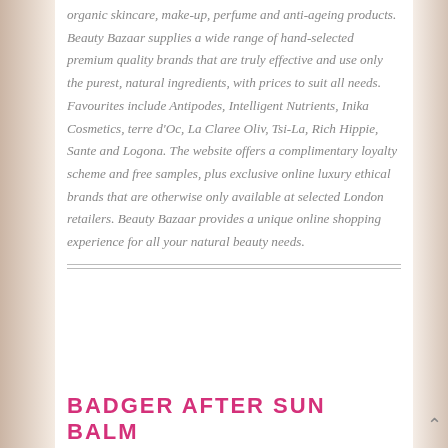organic skincare, make-up, perfume and anti-ageing products. Beauty Bazaar supplies a wide range of hand-selected premium quality brands that are truly effective and use only the purest, natural ingredients, with prices to suit all needs. Favourites include Antipodes, Intelligent Nutrients, Inika Cosmetics, terre d'Oc, La Claree Oliv, Tsi-La, Rich Hippie, Sante and Logona. The website offers a complimentary loyalty scheme and free samples, plus exclusive online luxury ethical brands that are otherwise only available at selected London retailers. Beauty Bazaar provides a unique online shopping experience for all your natural beauty needs.
BADGER AFTER SUN BALM